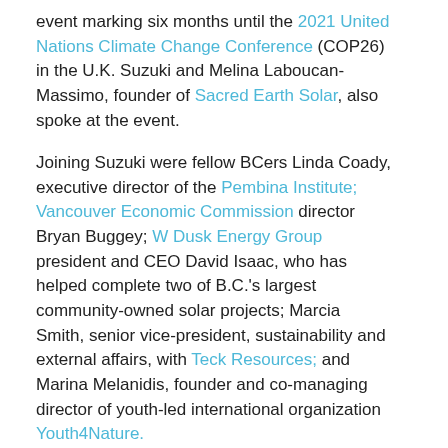event marking six months until the 2021 United Nations Climate Change Conference (COP26) in the U.K. Suzuki and Melina Laboucan-Massimo, founder of Sacred Earth Solar, also spoke at the event.
Joining Suzuki were fellow BCers Linda Coady, executive director of the Pembina Institute; Vancouver Economic Commission director Bryan Buggey; W Dusk Energy Group president and CEO David Isaac, who has helped complete two of B.C.'s largest community-owned solar projects; Marcia Smith, senior vice-president, sustainability and external affairs, with Teck Resources; and Marina Melanidis, founder and co-managing director of youth-led international organization Youth4Nature.
“We are at a turning point for our planet, and urgent change is needed now to address the existential threat of climate change. Ahead of COP26, the U.K. is leading by example through ambitious climate action,” said Susan le Jeune